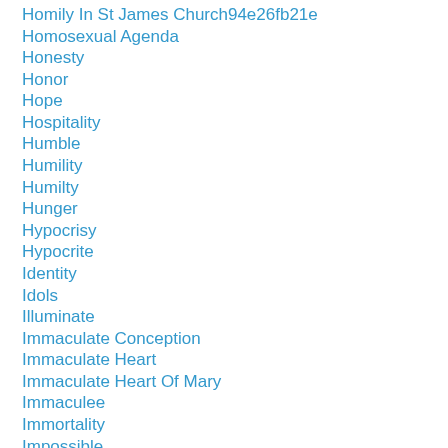Homily In St James Church94e26fb21e
Homosexual Agenda
Honesty
Honor
Hope
Hospitality
Humble
Humility
Humilty
Hunger
Hypocrisy
Hypocrite
Identity
Idols
Illuminate
Immaculate Conception
Immaculate Heart
Immaculate Heart Of Mary
Immaculee
Immortality
Impossible